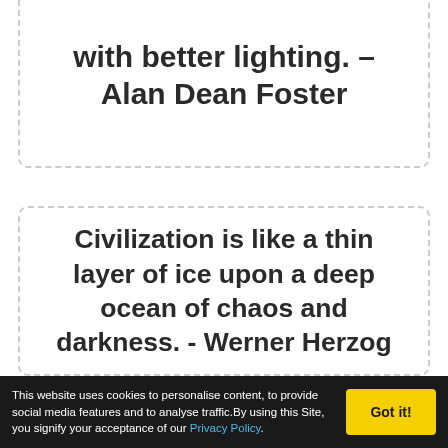with better lighting. - Alan Dean Foster
Civilization is like a thin layer of ice upon a deep ocean of chaos and darkness. - Werner Herzog
This website uses cookies to personalise content, to provide social media features and to analyse traffic.By using this Site, you signify your acceptance of our Privacy Policy.